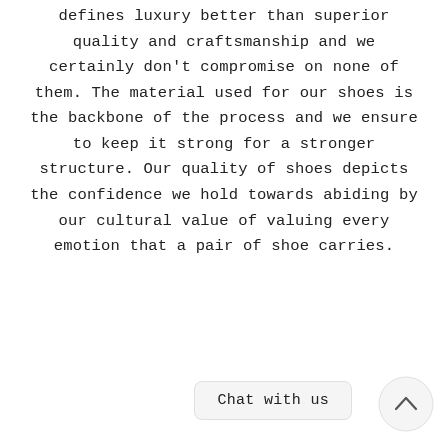defines luxury better than superior quality and craftsmanship and we certainly don't compromise on none of them. The material used for our shoes is the backbone of the process and we ensure to keep it strong for a stronger structure. Our quality of shoes depicts the confidence we hold towards abiding by our cultural value of valuing every emotion that a pair of shoe carries.
Chat with us